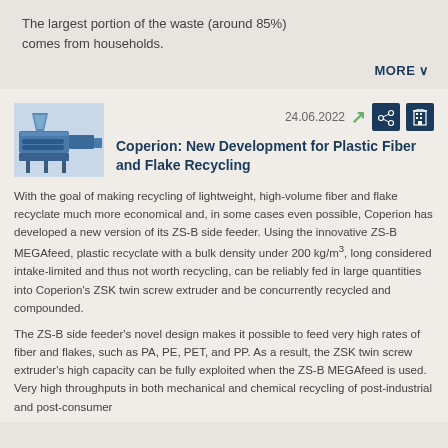The largest portion of the waste (around 85%) comes from households.
MORE
24.06.2022
Coperion: New Development for Plastic Fiber and Flake Recycling
With the goal of making recycling of lightweight, high-volume fiber and flake recyclate much more economical and, in some cases even possible, Coperion has developed a new version of its ZS-B side feeder. Using the innovative ZS-B MEGAfeed, plastic recyclate with a bulk density under 200 kg/m³, long considered intake-limited and thus not worth recycling, can be reliably fed in large quantities into Coperion's ZSK twin screw extruder and be concurrently recycled and compounded.
The ZS-B side feeder's novel design makes it possible to feed very high rates of fiber and flakes, such as PA, PE, PET, and PP. As a result, the ZSK twin screw extruder's high capacity can be fully exploited when the ZS-B MEGAfeed is used. Very high throughputs in both mechanical and chemical recycling of post-industrial and post-consumer